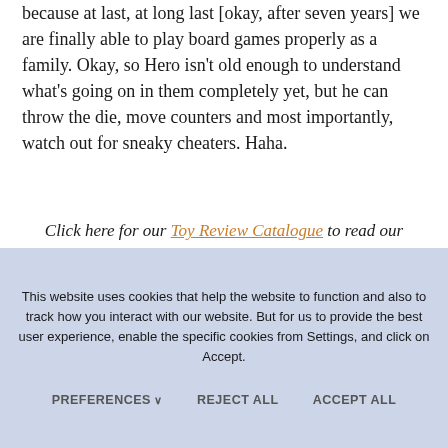because at last, at long last [okay, after seven years] we are finally able to play board games properly as a family. Okay, so Hero isn't old enough to understand what's going on in them completely yet, but he can throw the die, move counters and most importantly, watch out for sneaky cheaters. Haha.
Click here for our Toy Review Catalogue to read our reviews before you buy!
This website uses cookies that help the website to function and also to track how you interact with our website. But for us to provide the best user experience, enable the specific cookies from Settings, and click on Accept.
PREFERENCES  REJECT ALL  ACCEPT ALL